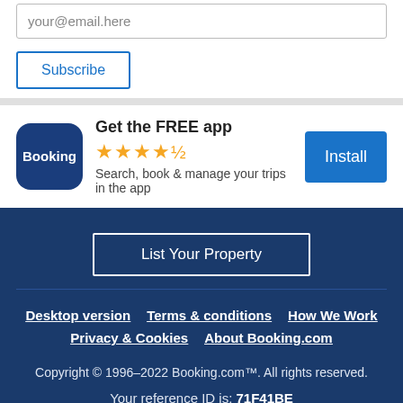your@email.here
Subscribe
[Figure (logo): Booking.com app icon — dark blue rounded square with 'Booking' text in white]
Get the FREE app
★★★★½
Search, book & manage your trips in the app
Install
List Your Property
Desktop version   Terms & conditions   How We Work
Privacy & Cookies   About Booking.com
Copyright © 1996–2022 Booking.com™. All rights reserved.
Your reference ID is: 71F41BE